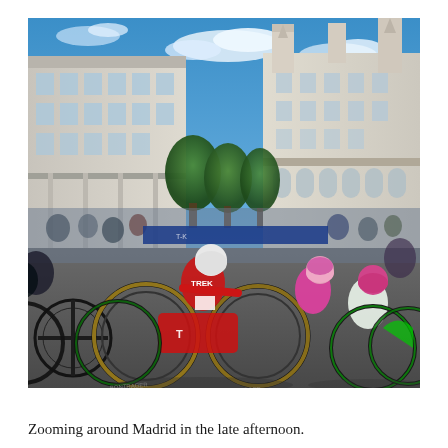[Figure (photo): Professional cycling road race peloton passing through Madrid city center near the Cibeles Palace, with riders in colorful jerseys including red Trek team kit and green Cannondale kit, large crowds lining the route, grand classical buildings in background, blue sky with clouds, late afternoon light.]
Zooming around Madrid in the late afternoon.